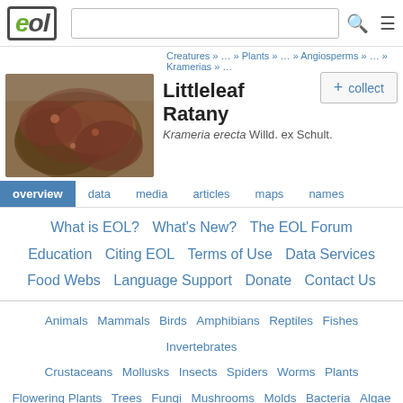EOL — search bar — menu icon
Creatures » … » Plants » … » Angiosperms » … » Kramerias » …
Littleleaf Ratany
Krameria erecta Willd. ex Schult.
+ collect
overview   data   media   articles   maps   names
What is EOL?   What's New?   The EOL Forum
Education   Citing EOL   Terms of Use   Data Services
Food Webs   Language Support   Donate   Contact Us
Animals   Mammals   Birds   Amphibians   Reptiles   Fishes   Invertebrates
Crustaceans   Mollusks   Insects   Spiders   Worms   Plants
Flowering Plants   Trees   Fungi   Mushrooms   Molds   Bacteria   Algae
Protists   Archaea   Viruses
EOL is hosted by:
[Figure (logo): National Museum of Natural History Smithsonian logo]
[Figure (photo): Photo of Littleleaf Ratany plant — reddish-purple shrub]